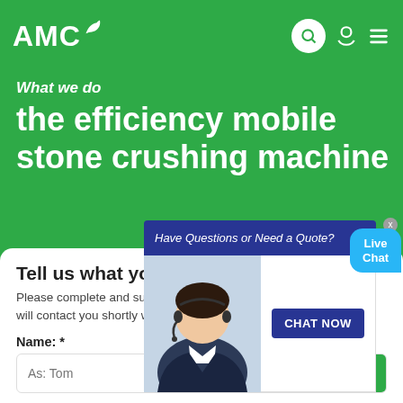AMC
What we do
the efficiency mobile stone crushing machine
[Figure (screenshot): Live chat popup overlay with 'Have Questions or Need a Quote?' banner in dark blue, a customer service representative photo, and a 'CHAT NOW' button, plus a cyan 'Live Chat' speech bubble in the top right.]
Tell us what you are looking for?
Please complete and submit the following form and our sales team will contact you shortly with our best prices.
Name: *
As: Tom
Email: *
As: vip@shanghaimeilan.com
Phone: *